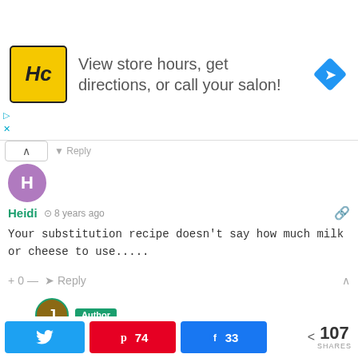[Figure (screenshot): Advertisement banner for HC (Hair Club or similar) salon: yellow/black logo on left, text 'View store hours, get directions, or call your salon!' in center, blue diamond navigation arrow icon on right.]
Heidi  ⊙ 8 years ago
Your substitution recipe doesn't say how much milk or cheese to use.....
+ 0 —  ➤ Reply
Jenn Bare  ⊙ 8 years ago
Reply to Heidi
107 SHARES